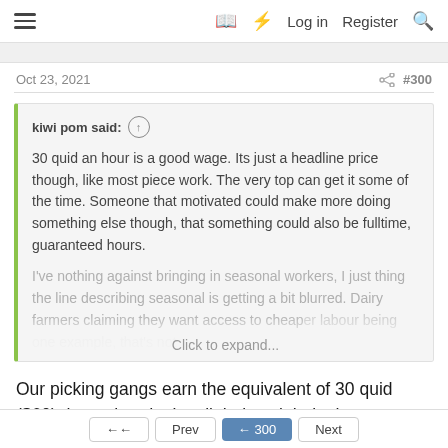≡  [book icon] [lightning icon]  Log in  Register  [search icon]
Oct 23, 2021
#300
kiwi pom said: ↑

30 quid an hour is a good wage. Its just a headline price though, like most piece work. The very top can get it some of the time. Someone that motivated could make more doing something else though, that something could also be fulltime, guaranteed hours.

I've nothing against bringing in seasonal workers, I just thing the line describing seasonal is getting a bit blurred. Dairy farmers claiming they want access to cheaper labour being one example, that's not

Click to expand...
Our picking gangs earn the equivalent of 30 quid ($60) those that don't pull their weight in the gang soon disappear, the picking gangs sort this out themselves.
↩ Reply